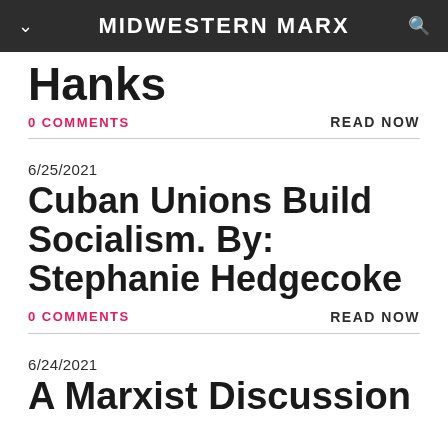MIDWESTERN MARX
Hanks
0 COMMENTS
READ NOW
6/25/2021
Cuban Unions Build Socialism. By: Stephanie Hedgecoke
0 COMMENTS
READ NOW
6/24/2021
A Marxist Discussion